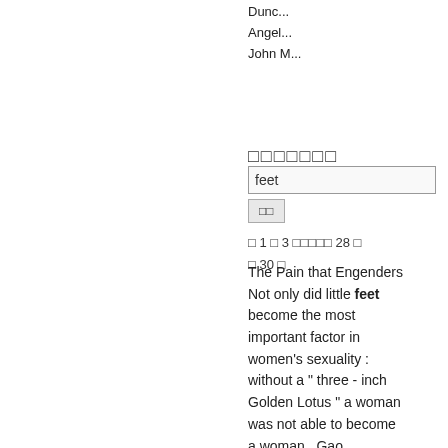Dunc...
Angel...
John M...
□□□□□□□
feet
□□
□ 1 □ 3 □□□□□ 28 □
□ 30 □
The Pain that Engenders Not only did little feet become the most important factor in women's sexuality : without a " three - inch Golden Lotus " a woman was not able to become a woman . Gao Hongxing , Chanzu shi40 Legends of the origins ...